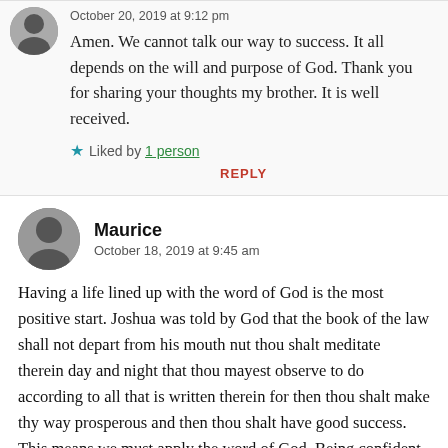October 20, 2019 at 9:12 pm
Amen. We cannot talk our way to success. It all depends on the will and purpose of God. Thank you for sharing your thoughts my brother. It is well received.
Liked by 1 person
REPLY
Maurice
October 18, 2019 at 9:45 am
Having a life lined up with the word of God is the most positive start. Joshua was told by God that the book of the law shall not depart from his mouth nut thou shalt meditate therein day and night that thou mayest observe to do according to all that is written therein for then thou shalt make thy way prosperous and then thou shalt have good success. This means we must apply the word of God. Being confident by applying faith is important to success. Our attitude can also indicate our character.